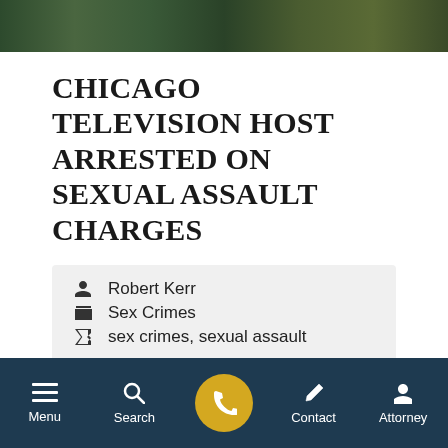[Figure (photo): Dark green outdoor/nature background photo strip at top of page]
CHICAGO TELEVISION HOST ARRESTED ON SEXUAL ASSAULT CHARGES
Robert Kerr
Sex Crimes
sex crimes, sexual assault
Charges of sexual abuse against a child can irreparably damage a person's
Menu  Search  Contact  Attorney